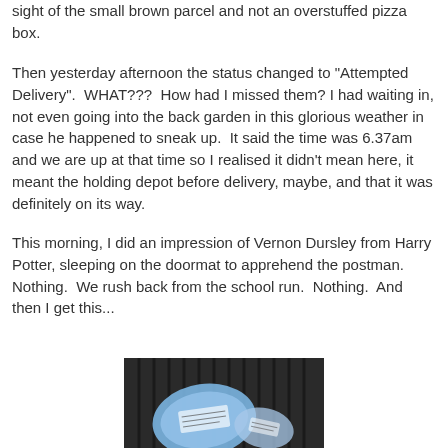sight of the small brown parcel and not an overstuffed pizza box.
Then yesterday afternoon the status changed to "Attempted Delivery".  WHAT???  How had I missed them? I had waiting in, not even going into the back garden in this glorious weather in case he happened to sneak up.  It said the time was 6.37am and we are up at that time so I realised it didn't mean here, it meant the holding depot before delivery, maybe, and that it was definitely on its way.
This morning, I did an impression of Vernon Dursley from Harry Potter, sleeping on the doormat to apprehend the postman.  Nothing.  We rush back from the school run.  Nothing.  And then I get this...
[Figure (photo): A photo of what appears to be a blue plastic bag or wrapped item on a dark woven mat/surface.]